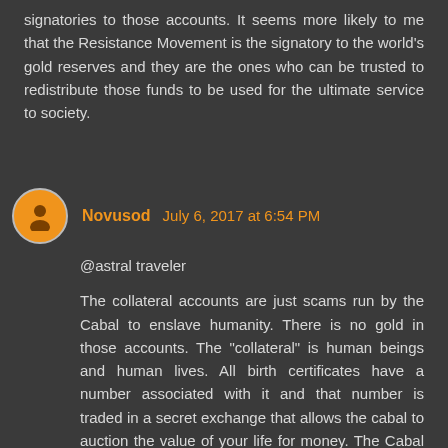signatories to those accounts. It seems more likely to me that the Resistance Movement is the signatory to the world's gold reserves and they are the ones who can be trusted to redistribute those funds to be used for the ultimate service to society.
Novusod  July 6, 2017 at 6:54 PM
@astral traveler
The collateral accounts are just scams run by the Cabal to enslave humanity. There is no gold in those accounts. The "collateral" is human beings and human lives. All birth certificates have a number associated with it and that number is traded in a secret exchange that allows the cabal to auction the value of your life for money. The Cabal basically owns you as property and then they sell your "strawman" at auction. People have little idea how much their lives are worth and how they have been cheated by the cabal